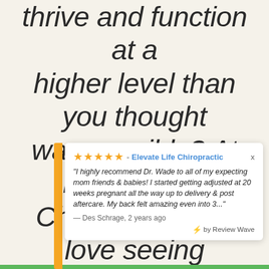thrive and function at a higher level than you thought was possible? At Elevate Life Chiropractic, we love seeing patients achieve their health goals and experience optimal health and better quality of
★★★★★ - Elevate Life Chiropractic
"I highly recommend Dr. Wade to all of my expecting mom friends & babies! I started getting adjusted at 20 weeks pregnant all the way up to delivery & post aftercare. My back felt amazing even into 3..."
— Des Schrage, 2 years ago
⚡ by Review Wave